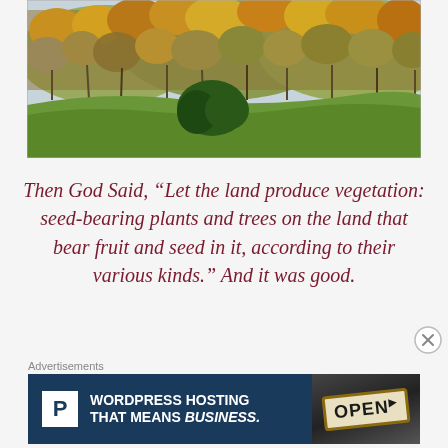[Figure (photo): Autumn forest landscape with colorful fall foliage — orange, yellow, and bare trees covering rolling hills with a green field in the foreground]
Then God Said, “Let the land produce vegetation: seed-bearing plants and trees on the land that bear fruit and seed in it, according to their various kinds.” And it was good.
Advertisements
[Figure (screenshot): Advertisement banner: WordPress Hosting That Means BUSINESS. with Pressable P logo and an OPEN sign image]